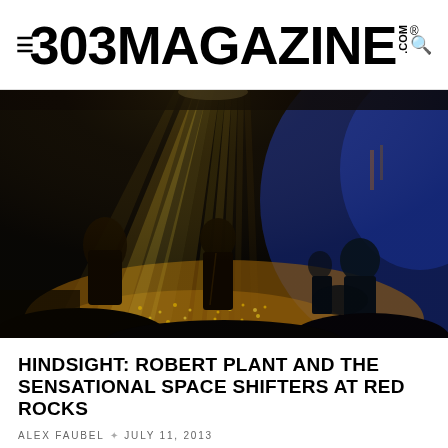303 MAGAZINE .COM ®
[Figure (photo): Concert photo of Robert Plant and the Sensational Space Shifters performing on a dark stage at Red Rocks, with dramatic golden spotlights beaming down from above, silhouettes of musicians visible, and blue atmospheric lighting on the right side.]
HINDSIGHT: ROBERT PLANT AND THE SENSATIONAL SPACE SHIFTERS AT RED ROCKS
ALEX FAUBEL  ✦  JULY 11, 2013